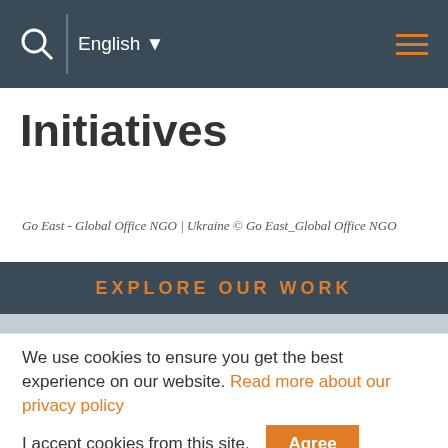English
Initiatives
Go East - Global Office NGO | Ukraine © Go East_Global Office NGO
EXPLORE OUR WORK
Anti-corruption and public accountability
Independent and social media platforms
We use cookies to ensure you get the best experience on our website. Read more about our privacy policy
I accept cookies from this site. Agree